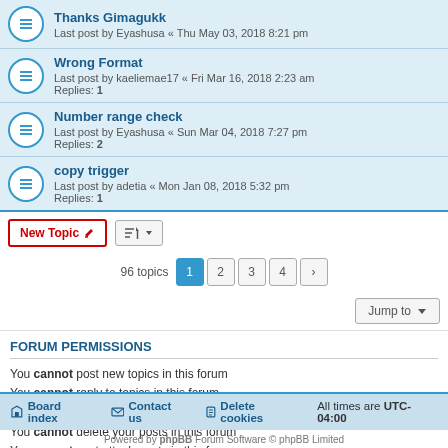Thanks Gimagukk — Last post by Eyashusa « Thu May 03, 2018 8:21 pm
Wrong Format — Last post by kaeliemae17 « Fri Mar 16, 2018 2:23 am — Replies: 1
Number range check — Last post by Eyashusa « Sun Mar 04, 2018 7:27 pm — Replies: 2
copy trigger — Last post by adetia « Mon Jan 08, 2018 5:32 pm — Replies: 1
New Topic | Sort | 96 topics | 1 2 3 4 >
Jump to
FORUM PERMISSIONS
You cannot post new topics in this forum
You cannot reply to topics in this forum
You cannot edit your posts in this forum
You cannot delete your posts in this forum
You cannot post attachments in this forum
Board index | Contact us | Delete cookies | All times are UTC-04:00